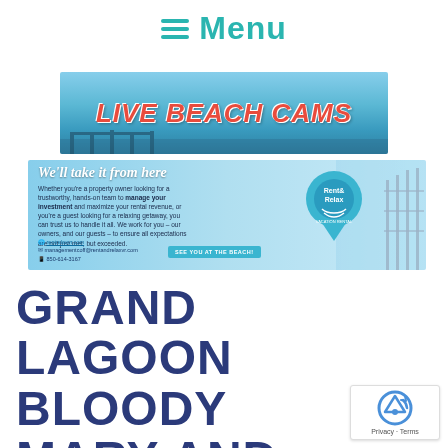Menu
[Figure (screenshot): Live Beach Cams banner with ocean/pier background and red italic text reading LIVE BEACH CAMS]
[Figure (screenshot): Rent & Relax vacation rental advertisement banner with tagline 'We'll take it from here', body text about property management, contact info, CTA button SEE YOU AT THE BEACH!, and pin-drop logo]
GRAND LAGOON BLOODY MARY AND MUSIC FESTIVAL
[Figure (logo): reCAPTCHA badge with Privacy and Terms links]